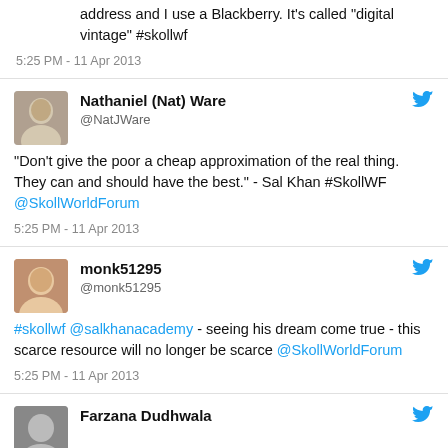address and I use a Blackberry. It's called "digital vintage" #skollwf
5:25 PM - 11 Apr 2013
Nathaniel (Nat) Ware @NatJWare
"Don't give the poor a cheap approximation of the real thing. They can and should have the best." - Sal Khan #SkollWF @SkollWorldForum
5:25 PM - 11 Apr 2013
monk51295 @monk51295
#skollwf @salkhanacademy - seeing his dream come true - this scarce resource will no longer be scarce @SkollWorldForum
5:25 PM - 11 Apr 2013
Farzana Dudhwala